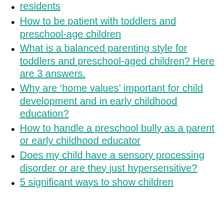residents
How to be patient with toddlers and preschool-age children
What is a balanced parenting style for toddlers and preschool-aged children? Here are 3 answers.
Why are ‘home values’ important for child development and in early childhood education?
How to handle a preschool bully as a parent or early childhood educator
Does my child have a sensory processing disorder or are they just hypersensitive?
5 significant ways to show children